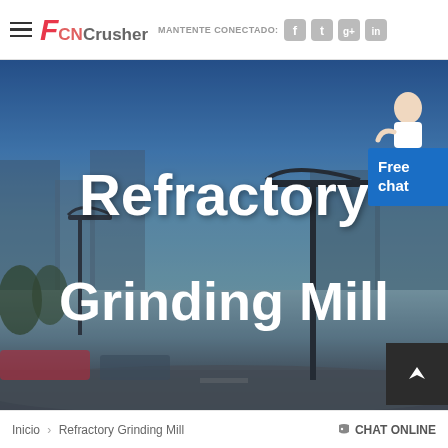CNCrusher — MANTENTE CONECTADO: social icons (Facebook, Twitter, Google+, LinkedIn)
[Figure (photo): Hero banner image showing a city street scene with blue sky background, buildings, and street lights. Large white bold text reads 'Refractory Grinding Mill' overlaid on the image. A 'Free chat' button appears in the top-right corner with a customer service representative icon.]
Inicio > Refractory Grinding Mill   CHAT ONLINE